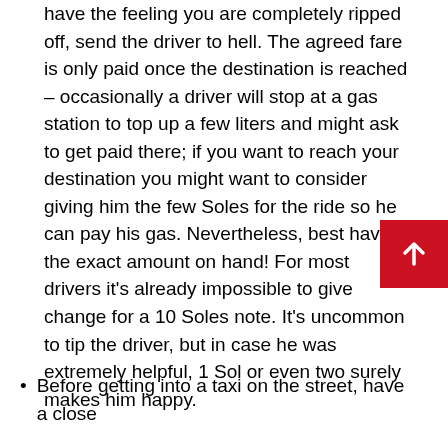have the feeling you are completely ripped off, send the driver to hell. The agreed fare is only paid once the destination is reached – occasionally a driver will stop at a gas station to top up a few liters and might ask to get paid there; if you want to reach your destination you might want to consider giving him the few Soles for the ride so he can pay his gas. Nevertheless, best have the exact amount on hand! For most drivers it's already impossible to give change for a 10 Soles note. It's uncommon to tip the driver, but in case he was extremely helpful, 1 Sol or even two surely makes him happy.
Before getting into a taxi on the street, have a close